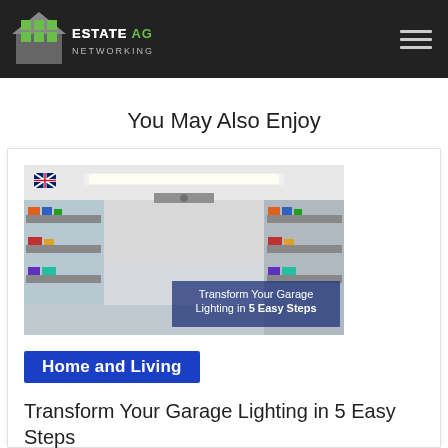Estate Agent Networking
You May Also Enjoy
[Figure (photo): Photo of an organized garage interior with bright LED lighting and shelving units, with text overlay reading 'Transform Your Garage Lighting in 5 Easy Steps']
Home and Living
Transform Your Garage Lighting in 5 Easy Steps
Garage lighting holds significant value in almost all houses these days. This is owed to the fact that people use their garage space for more than just parking their...